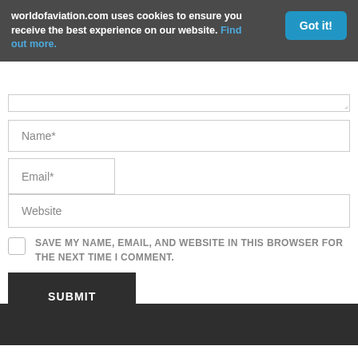worldofaviation.com uses cookies to ensure you receive the best experience on our website. Find out more.
Name*
Email*
Website
SAVE MY NAME, EMAIL, AND WEBSITE IN THIS BROWSER FOR THE NEXT TIME I COMMENT.
SUBMIT